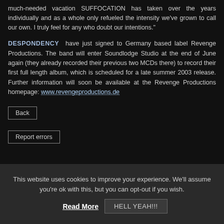much-needed vacation SUFFOCATION has taken over the years individually and as a whole only refueled the intensity we've grown to call our own. I truly feel for any who doubt our intentions."
DESPONDENCY have just signed to Germany based label Revenge Productions. The band will enter Soundlodge Studio at the end of June again (they already recorded their previous two MCDs there) to record their first full length album, which is scheduled for a late summer 2003 release. Further information will soon be available at the Revenge Productions homepage: www.revengeproductions.de
Back
Report errors
This website uses cookies to improve your experience. We'll assume you're ok with this, but you can opt-out if you wish.
Read More
HELL YEAH!!!